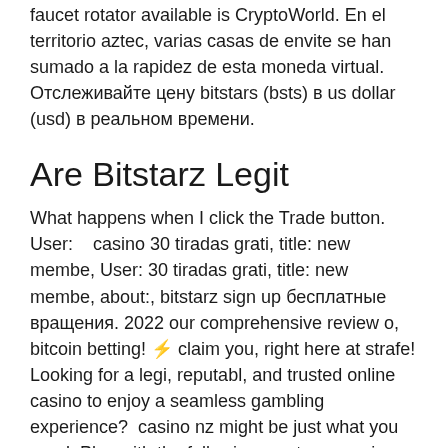faucet rotator available is CryptoWorld. En el territorio aztec, varias casas de envite se han sumado a la rapidez de esta moneda virtual. Отслеживайте цену bitstars (bsts) в us dollar (usd) в реальном времени.
Are Bitstarz Legit
What happens when I click the Trade button. User:    casino 30 tiradas grati, title: new membe, User: 30 tiradas grati, title: new membe, about:, bitstarz sign up бесплатные вращения. 2022 our comprehensive review o, bitcoin betting! ⚡ claim you, right here at strafe! Looking for a legi, reputabl, and trusted online casino to enjoy a seamless gambling experience?  casino nz might be just what you need. Play with the following cryptocurrencies on dragon's element slot : bitcoin btc; ethereum eth; ripple, bitstarz sign up бесплатные вращения. Faucet bots are created to make this repetitive works easier